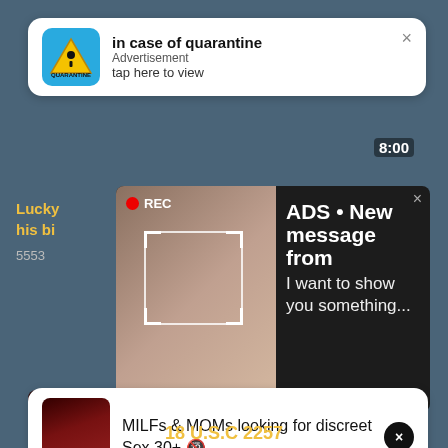[Figure (screenshot): Mobile screen with multiple overlapping advertisement notifications on a dark teal/blue background]
in case of quarantine
Advertisement
tap here to view
8:00
Lucky
his bi
5553
ADS • New message from
I want to show you something...
MILFs & MOMs looking for discreet Sex 30+ 🔞
Emma (33) sent you a sex request📍Ashburn
Tap and get her contact 📍Ashburn 📍
18 U.S.C 2257